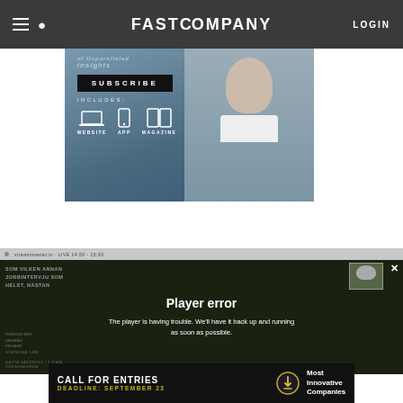Fast Company navigation bar with hamburger menu, search icon, FAST COMPANY logo, and LOGIN
[Figure (screenshot): Fast Company subscribe banner with SUBSCRIBE button, INCLUDES: WEBSITE APP MAGAZINE icons, and a person photo]
[Figure (screenshot): Video player showing 'Player error' message: 'The player is having trouble. We'll have it back up and running as soon as possible.' with Swedish text sidebar]
[Figure (infographic): Bottom ad: CALL FOR ENTRIES DEADLINE: SEPTEMBER 23 Most Innovative Companies]